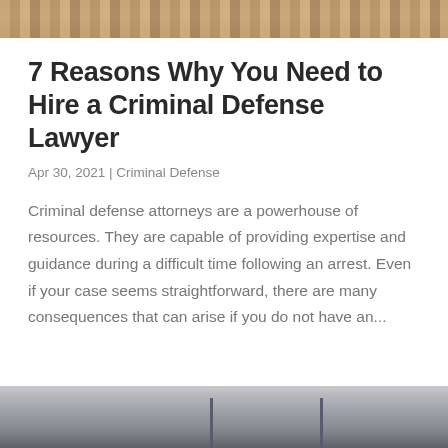[Figure (photo): Top cropped photo, appears to show a person, warm brown tones]
7 Reasons Why You Need to Hire a Criminal Defense Lawyer
Apr 30, 2021 | Criminal Defense
Criminal defense attorneys are a powerhouse of resources. They are capable of providing expertise and guidance during a difficult time following an arrest. Even if your case seems straightforward, there are many consequences that can arise if you do not have an...
[Figure (photo): Bottom cropped photo, appears to show a desk or table surface, gray and dark tones]